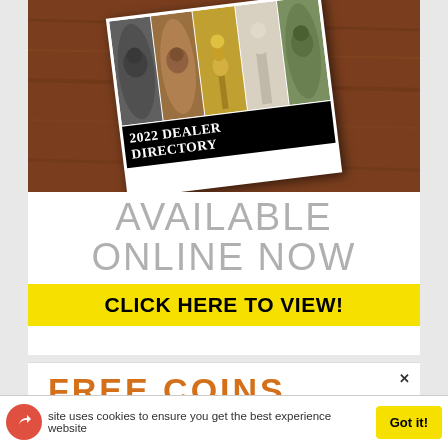[Figure (illustration): 2022 Dealer Directory advertisement showing coin images on wooden background with text 'AVAILABLE ONLINE NOW' and yellow 'CLICK HERE TO VIEW!' button]
[Figure (illustration): Partial bottom advertisement showing 'FREE COINS' text in orange with a close X button]
site uses cookies to ensure you get the best experience website